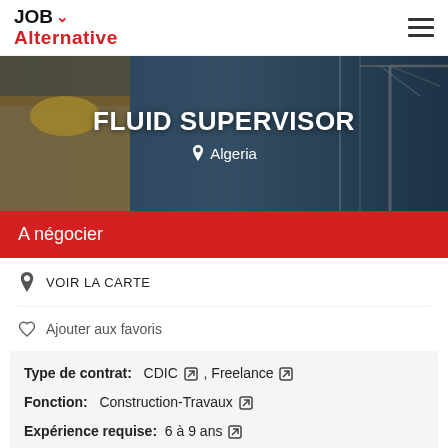JOB Alternative
[Figure (photo): Construction site hero banner with workers in hard hats and a crane in the background]
FLUID SUPERVISOR
Algeria
A négocier
VOIR LA CARTE
Ajouter aux favoris
Type de contrat:  CDIC , Freelance
Fonction:  Construction-Travaux
Expérience requise:  6 à 9 ans